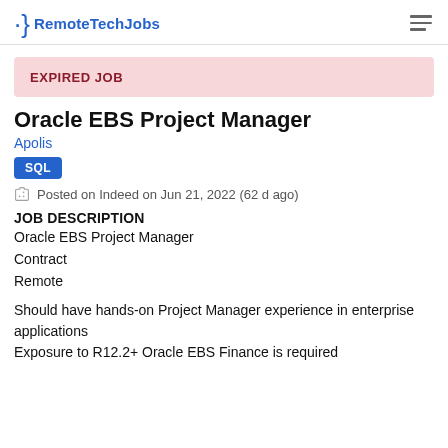RemoteTechJobs
EXPIRED JOB
Oracle EBS Project Manager
Apolis
SQL
Posted on Indeed on Jun 21, 2022 (62 d ago)
JOB DESCRIPTION
Oracle EBS Project Manager
Contract
Remote
Should have hands-on Project Manager experience in enterprise applications
Exposure to R12.2+ Oracle EBS Finance is required